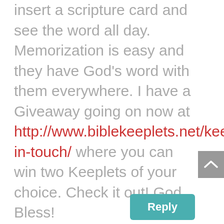insert a scripture card and see the word all day. Memorization is easy and they have God's word with them everywhere. I have a Giveaway going on now at http://www.biblekeeplets.net/keep-in-touch/ where you can win two Keeplets of your choice. Check it out! God Bless!
Reply